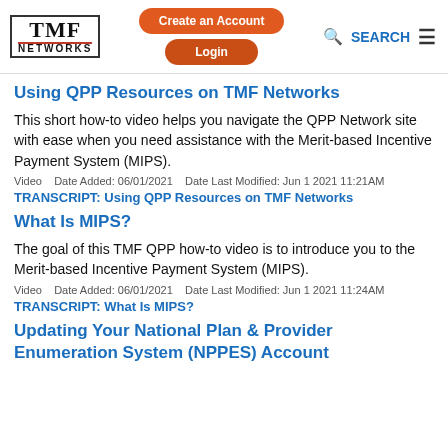TMF NETWORKS | Create an Account | Login | SEARCH
Using QPP Resources on TMF Networks
This short how-to video helps you navigate the QPP Network site with ease when you need assistance with the Merit-based Incentive Payment System (MIPS).
Video   Date Added: 06/01/2021   Date Last Modified: Jun 1 2021 11:21AM
TRANSCRIPT: Using QPP Resources on TMF Networks
What Is MIPS?
The goal of this TMF QPP how-to video is to introduce you to the Merit-based Incentive Payment System (MIPS).
Video   Date Added: 06/01/2021   Date Last Modified: Jun 1 2021 11:24AM
TRANSCRIPT: What Is MIPS?
Updating Your National Plan & Provider Enumeration System (NPPES) Account